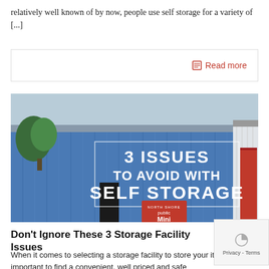relatively well known of by now, people use self storage for a variety of [...]
Read more
[Figure (photo): Photo of a blue metal self-storage warehouse building with text overlay reading '3 ISSUES TO AVOID WITH SELF STORAGE' and a red North Shore Public Mini Storage logo badge]
Don't Ignore These 3 Storage Facility Issues
When it comes to selecting a storage facility to store your items, it's important to find a convenient, well priced and safe